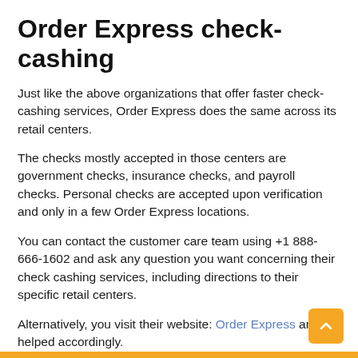Order Express check-cashing
Just like the above organizations that offer faster check-cashing services, Order Express does the same across its retail centers.
The checks mostly accepted in those centers are government checks, insurance checks, and payroll checks. Personal checks are accepted upon verification and only in a few Order Express locations.
You can contact the customer care team using +1 888-666-1602 and ask any question you want concerning their check cashing services, including directions to their specific retail centers.
Alternatively, you visit their website: Order Express and be helped accordingly.